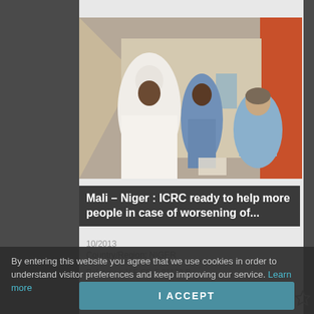[Figure (photo): Photograph showing three people sitting inside a tent or temporary shelter. A man in white traditional clothing and white cap sits on the left, a woman in patterned clothing sits in the middle, and a man in a light blue shirt sits on the right. Orange/colorful fabric is visible on the right side.]
Mali – Niger : ICRC ready to help more people in case of worsening of...
10/2013
Country/Region: NIGER
By entering this website you agree that we use cookies in order to understand visitor preferences and keep improving our service. Learn more
Reference: V-F-CR-F-01139-B